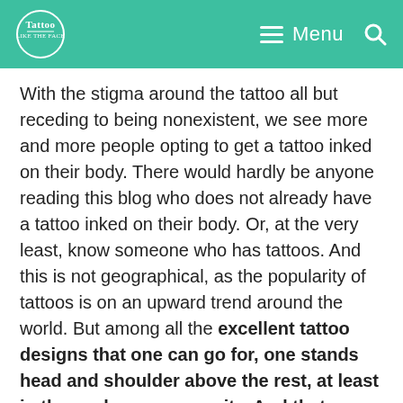Tattoo — Like The Face | Menu [search]
With the stigma around the tattoo all but receding to being nonexistent, we see more and more people opting to get a tattoo inked on their body. There would hardly be anyone reading this blog who does not already have a tattoo inked on their body. Or, at the very least, know someone who has tattoos. And this is not geographical, as the popularity of tattoos is on an upward trend around the world. But among all the excellent tattoo designs that one can go for, one stands head and shoulder above the rest, at least in the explorer community. And that design is a mountain tattoo.
Mountain tattoos have become quite